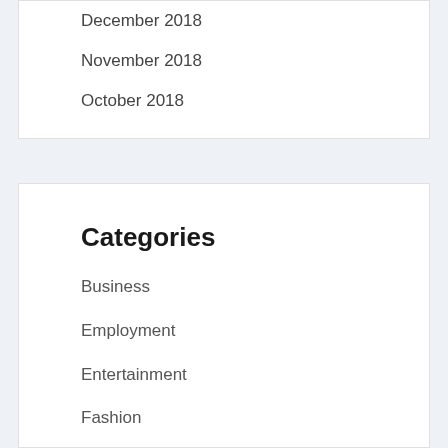December 2018
November 2018
October 2018
Categories
Business
Employment
Entertainment
Fashion
Food